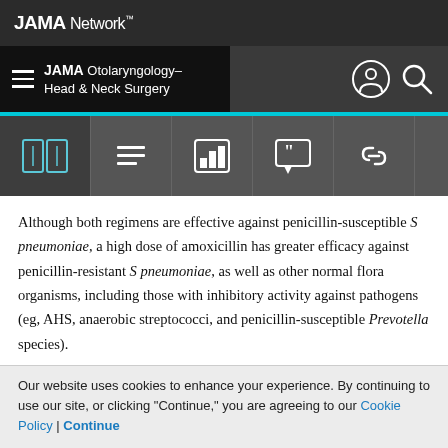JAMA Network
JAMA Otolaryngology–Head & Neck Surgery
Although both regimens are effective against penicillin-susceptible S pneumoniae, a high dose of amoxicillin has greater efficacy against penicillin-resistant S pneumoniae, as well as other normal flora organisms, including those with inhibitory activity against pathogens (eg, AHS, anaerobic streptococci, and penicillin-susceptible Prevotella species).
The higher recovery of S aureus from patients who
Our website uses cookies to enhance your experience. By continuing to use our site, or clicking "Continue," you are agreeing to our Cookie Policy | Continue